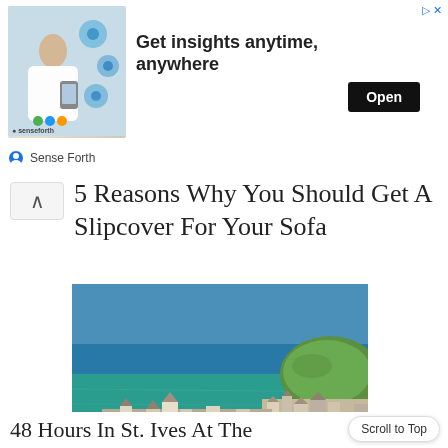[Figure (screenshot): Advertisement banner: 'Get insights anytime, anywhere' with an image of a business woman with digital icons, an 'Open' button, and 'Sense Forth' branding]
5 Reasons Why You Should Get A Slipcover For Your Sofa
[Figure (photo): Aerial photograph of St. Ives, Cornwall, showing the coastal town with its harbour, turquoise waters, sandy beach, and a green hill in the background]
48 Hours In St. Ives At The